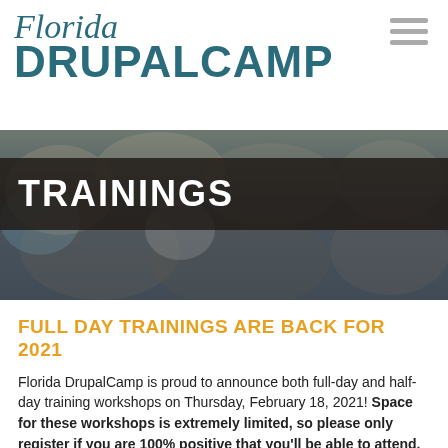[Figure (logo): Florida DrupalCamp logo with stylized cursive 'Florida' above bold 'DRUPALCAMP' text in teal/dark blue]
[Figure (photo): Blurred background photo of a crowd of people at an event, used as hero banner image]
TRAININGS
FULL DAY TRAININGS ARE BACK FOR 2021
Florida DrupalCamp is proud to announce both full-day and half-day training workshops on Thursday, February 18, 2021! Space for these workshops is extremely limited, so please only register if you are 100% positive that you'll be able to attend.